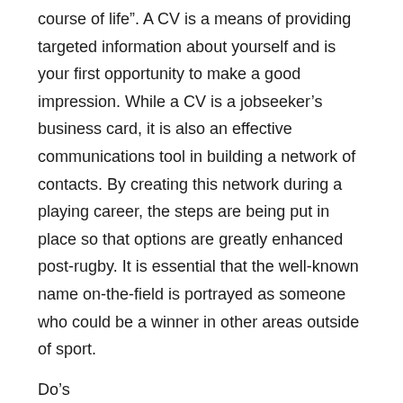course of life". A CV is a means of providing targeted information about yourself and is your first opportunity to make a good impression. While a CV is a jobseeker's business card, it is also an effective communications tool in building a network of contacts. By creating this network during a playing career, the steps are being put in place so that options are greatly enhanced post-rugby. It is essential that the well-known name on-the-field is portrayed as someone who could be a winner in other areas outside of sport.
Do's
1. Keep it short and sweet. 2 pages is the preferred length of a CV. The reader should be able to glean all the contents in 30 seconds.
2. Include a paragraph on who you are and what you have achieved on the first page. Grab their attention